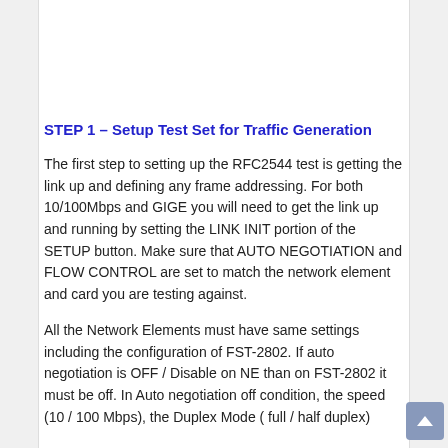STEP 1 – Setup Test Set for Traffic Generation
The first step to setting up the RFC2544 test is getting the link up and defining any frame addressing. For both 10/100Mbps and GIGE you will need to get the link up and running by setting the LINK INIT portion of the SETUP button. Make sure that AUTO NEGOTIATION and FLOW CONTROL are set to match the network element and card you are testing against.
All the Network Elements must have same settings including the configuration of FST-2802. If auto negotiation is OFF / Disable on NE than on FST-2802 it must be off. In Auto negotiation off condition, the speed (10 / 100 Mbps), the Duplex Mode ( full / half duplex)